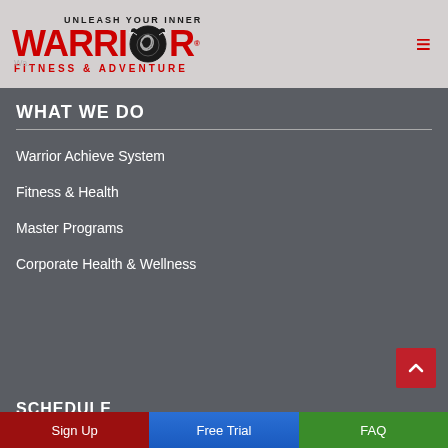[Figure (logo): Warrior Fitness & Adventure logo with stylized warrior icon, red text WARRIOR, and tagline UNLEASH YOUR INNER / FITNESS & ADVENTURE]
WHAT WE DO
Warrior Achieve System
Fitness & Health
Master Programs
Corporate Health & Wellness
SCHEDULE
Sign Up
Free Trial
FAQ